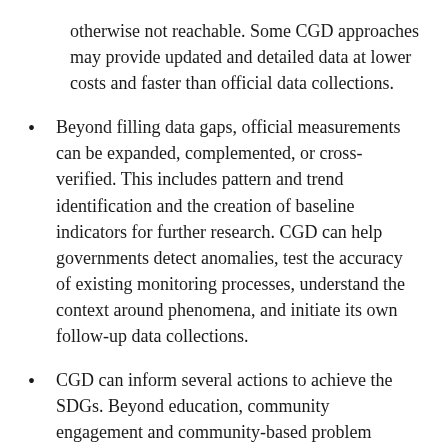otherwise not reachable. Some CGD approaches may provide updated and detailed data at lower costs and faster than official data collections.
Beyond filling data gaps, official measurements can be expanded, complemented, or cross-verified. This includes pattern and trend identification and the creation of baseline indicators for further research. CGD can help governments detect anomalies, test the accuracy of existing monitoring processes, understand the context around phenomena, and initiate its own follow-up data collections.
CGD can inform several actions to achieve the SDGs. Beyond education, community engagement and community-based problem solving, this includes baseline research, planning and strategy development, allocation and coordination of public and private programs, as well